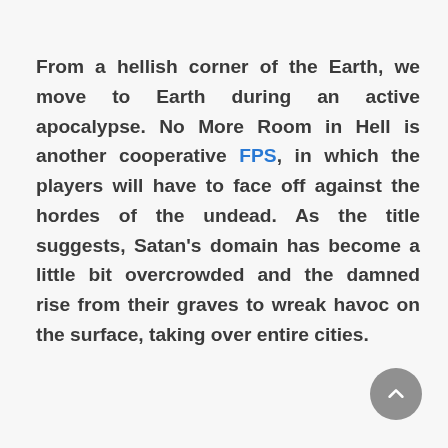From a hellish corner of the Earth, we move to Earth during an active apocalypse. No More Room in Hell is another cooperative FPS, in which the players will have to face off against the hordes of the undead. As the title suggests, Satan's domain has become a little bit overcrowded and the damned rise from their graves to wreak havoc on the surface, taking over entire cities.